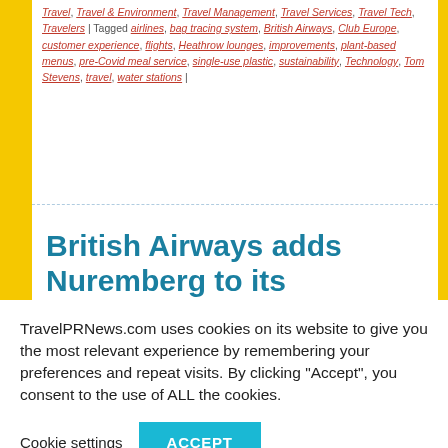Travel, Travel & Environment, Travel Management, Travel Services, Travel Tech, Travelers | Tagged airlines, bag tracing system, British Airways, Club Europe, customer experience, flights, Heathrow lounges, improvements, plant-based menus, pre-Covid meal service, single-use plastic, sustainability, Technology, Tom Stevens, travel, water stations |
British Airways adds Nuremberg to its Heathrow short-haul network
TravelPRNews.com uses cookies on its website to give you the most relevant experience by remembering your preferences and repeat visits. By clicking "Accept", you consent to the use of ALL the cookies.